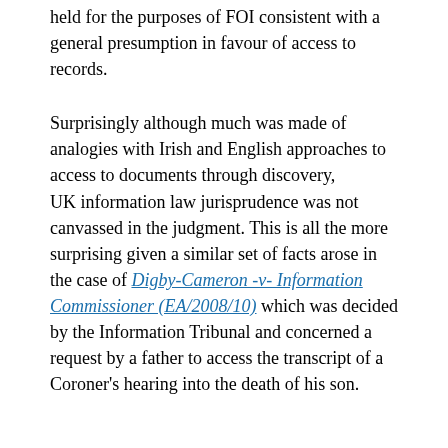held for the purposes of FOI consistent with a general presumption in favour of access to records.
Surprisingly although much was made of analogies with Irish and English approaches to access to documents through discovery, UK information law jurisprudence was not canvassed in the judgment. This is all the more surprising given a similar set of facts arose in the case of Digby-Cameron -v- Information Commissioner (EA/2008/10) which was decided by the Information Tribunal and concerned a request by a father to access the transcript of a Coroner's hearing into the death of his son.